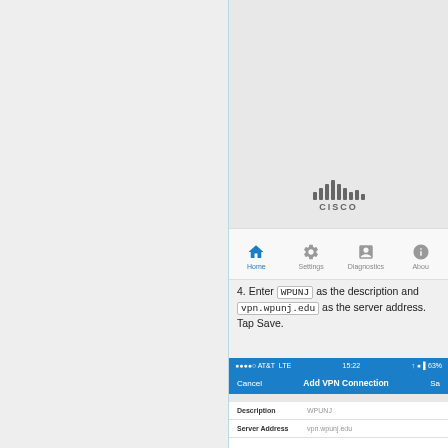[Figure (screenshot): Cisco AnyConnect mobile app screenshot showing home screen with navigation bar (Home, Settings, Diagnostics, About) and Cisco logo]
4. Enter WPUNJ as the description and vpn.wpunj.edu as the server address. Tap Save.
[Figure (screenshot): iOS Add VPN Connection screen showing status bar (AT&T LTE 15:22 63%), navigation bar with Cancel, Add VPN Connection title, and Save button, with Description field showing WPUNJ and Server Address field showing vpn.wpunj.edu]